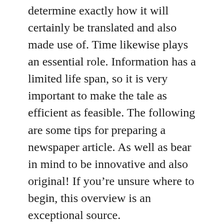determine exactly how it will certainly be translated and also made use of. Time likewise plays an essential role. Information has a limited life span, so it is very important to make the tale as efficient as feasible. The following are some tips for preparing a newspaper article. As well as bear in mind to be innovative and also original! If you're unsure where to begin, this overview is an exceptional source.
What is Information? A wide definition would certainly be news, info, and occasions which are of public interest. It is a method that is definite and is shaped by info. Previous NBC Information head of state Reuven Frank asserts